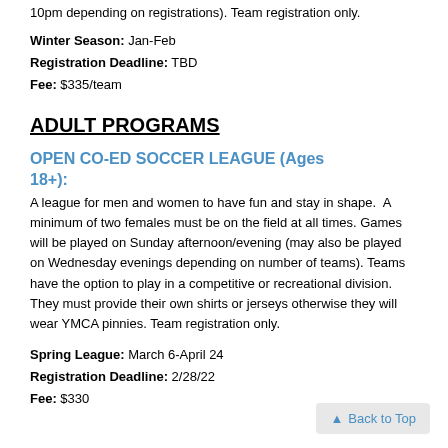10pm depending on registrations). Team registration only.
Winter Season: Jan-Feb
Registration Deadline: TBD
Fee: $335/team
ADULT PROGRAMS
OPEN CO-ED SOCCER LEAGUE (Ages 18+): A league for men and women to have fun and stay in shape. A minimum of two females must be on the field at all times. Games will be played on Sunday afternoon/evening (may also be played on Wednesday evenings depending on number of teams). Teams have the option to play in a competitive or recreational division. They must provide their own shirts or jerseys otherwise they will wear YMCA pinnies. Team registration only.
Spring League: March 6-April 24
Registration Deadline: 2/28/22
Fee: $330
Back to Top